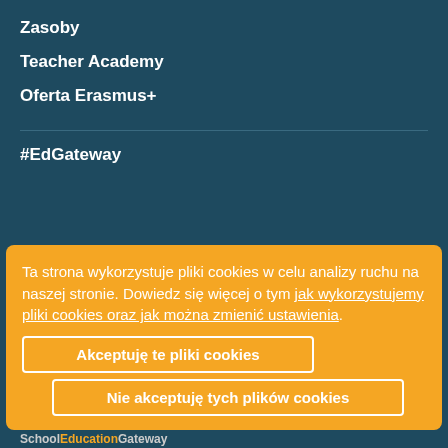Zasoby
Teacher Academy
Oferta Erasmus+
#EdGateway
> O mnie
Ta strona wykorzystuje pliki cookies w celu analizy ruchu na naszej stronie. Dowiedz się więcej o tym jak wykorzystujemy pliki cookies oraz jak można zmienić ustawienia.
Akceptuję te pliki cookies
Nie akceptuję tych plików cookies
SchoolEducationGateway